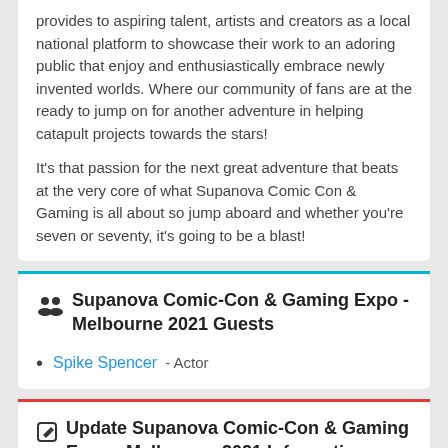provides to aspiring talent, artists and creators as a local national platform to showcase their work to an adoring public that enjoy and enthusiastically embrace newly invented worlds. Where our community of fans are at the ready to jump on for another adventure in helping catapult projects towards the stars!
It's that passion for the next great adventure that beats at the very core of what Supanova Comic Con & Gaming is all about so jump aboard and whether you're seven or seventy, it's going to be a blast!
Supanova Comic-Con & Gaming Expo - Melbourne 2021 Guests
Spike Spencer - Actor
Update Supanova Comic-Con & Gaming Expo - Melbourne 2021 Information
Add or Update Information for Supanova Comic-Con & Gaming Ex...